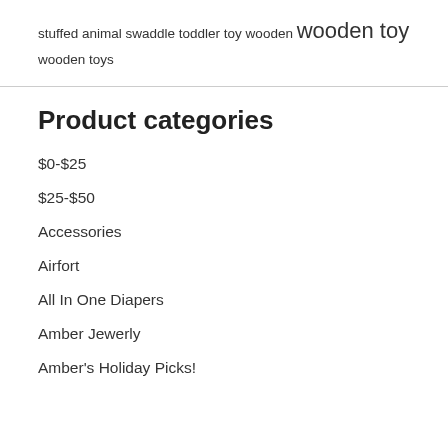stuffed animal swaddle toddler toy wooden wooden toy wooden toys
Product categories
$0-$25
$25-$50
Accessories
Airfort
All In One Diapers
Amber Jewerly
Amber's Holiday Picks!